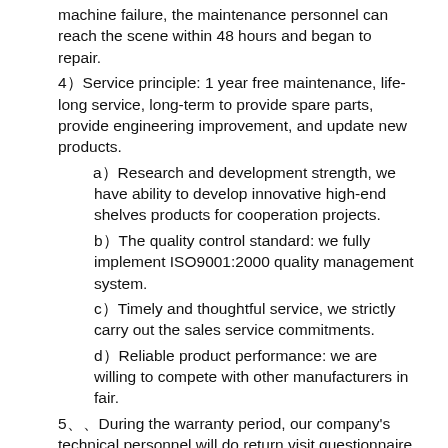machine failure, the maintenance personnel can reach the scene within 48 hours and began to repair.
4）Service principle: 1 year free maintenance, life-long service, long-term to provide spare parts, provide engineering improvement, and update new products.
a）Research and development strength, we have ability to develop innovative high-end shelves products for cooperation projects.
b）The quality control standard: we fully implement ISO9001:2000 quality management system.
c）Timely and thoughtful service, we strictly carry out the sales service commitments.
d）Reliable product performance: we are willing to compete with other manufacturers in fair.
5、、During the warranty period, our company's technical personnel will do return visit questionnaire survey each year. If you have any dissatisfaction, please feel free to contact us.